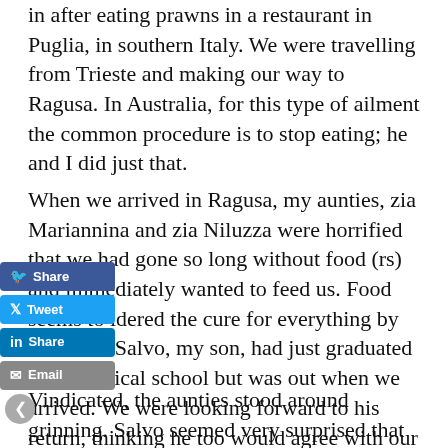in after eating prawns in a restaurant in Puglia, in southern Italy. We were travelling from Trieste and making our way to Ragusa. In Australia, for this type of ailment the common procedure is to stop eating; he and I did just that.
When we arrived in Ragusa, my aunties, zia Mariannina and zia Niluzza were horrified that we had gone so long without food (…rs) and immediately wanted to feed us. Food seems to …idered the cure for everything by Sicilians. Salvo, my …son, had just graduated from medical school but was out when we arrived. We were looking forward to his return, thinking he too would agree with our decision to fast as a remedy, but this was not the case – when Salvo arrived, he immediately confirmed the aunties' recommendation to begin the cure by eating in bianco.
Vindicated, the aunties stood around grinning. Salvo seemed very surprised that in Australia the cure for an upset stomach was to stop eating. Soon after, we were presented with riso in